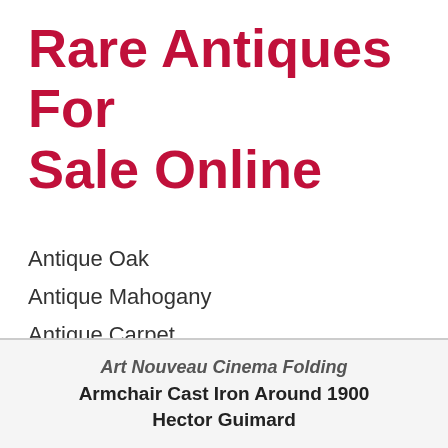Rare Antiques For Sale Online
Antique Oak
Antique Mahogany
Antique Carpet
Antique Painting
Antique Glass
Antique Plate
Art Nouveau Cinema Folding Armchair Cast Iron Around 1900 Hector Guimard